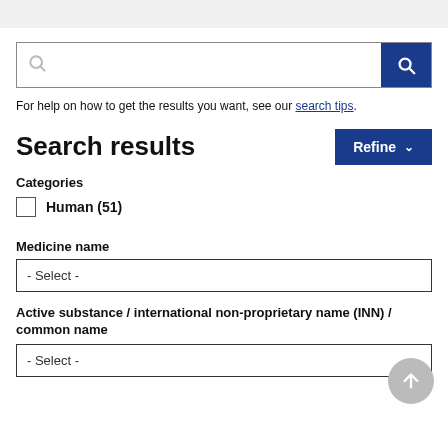[Figure (screenshot): Search input box with blue search button on the right]
For help on how to get the results you want, see our search tips.
Search results
Refine
Categories
Human (51)
Medicine name
- Select -
Active substance / international non-proprietary name (INN) / common name
- Select -